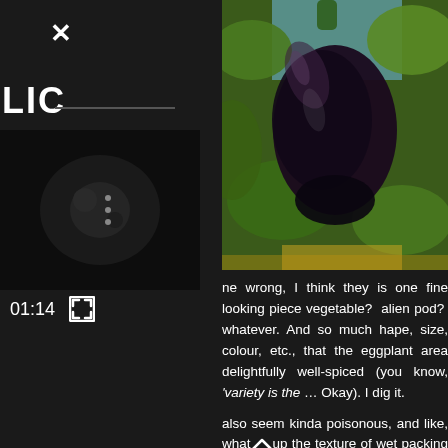×
LIC
[Figure (photo): Video thumbnail showing a dimly lit garden or plant scene]
01:14
[Figure (photo): Close-up photograph of a dark eggplant hanging among green leaves in a garden]
ne wrong, I think they is one fine looking piece vegetable? alien pod? whatever. And so much hape, size, colour, etc., that the eggplant area delightfully well-spiced (you know, 'variety is the … Okay). I dig it.
also seem kinda poisonous, and like, what's up the texture of wet packing foam fresh and like d of a mushroom and a whelk when cooked? I cided to go with 'slippery'. Well played, Mme